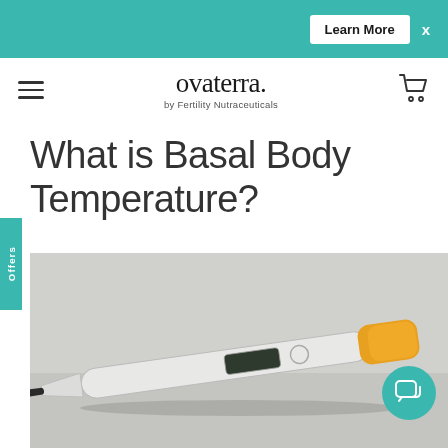Learn More  x
ovaterra. by Fertility Nutraceuticals
What is Basal Body Temperature?
[Figure (photo): A digital basal body thermometer lying on a gray surface. The thermometer is white with a yellow/orange cap on one end and a black probe tip on the other. It has a small LCD display screen and a circular button.]